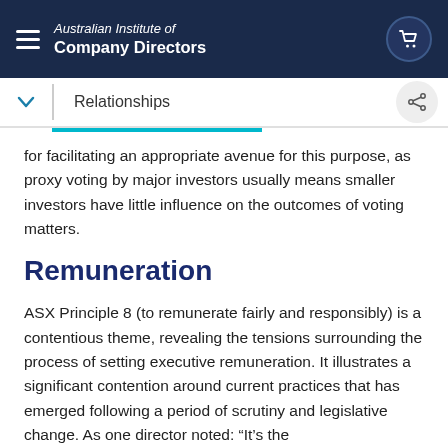Australian Institute of Company Directors
Relationships
for facilitating an appropriate avenue for this purpose, as proxy voting by major investors usually means smaller investors have little influence on the outcomes of voting matters.
Remuneration
ASX Principle 8 (to remunerate fairly and responsibly) is a contentious theme, revealing the tensions surrounding the process of setting executive remuneration. It illustrates a significant contention around current practices that has emerged following a period of scrutiny and legislative change. As one director noted: “It’s the